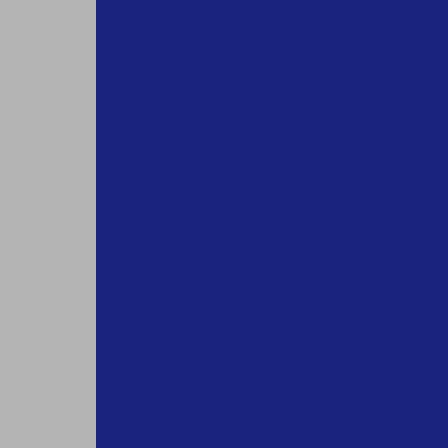As with sentences, a paragraph's thought collection is understood obviously the more quickly th
Simple things
Short, simple words commonly presents a choice between two Anglo-Saxon word and the oth fewer syllables bring concisen communication, succinctly sai
Many accomplished legal wri words or phrases and the shor substituted. There are many su the word “legalese,” and these For starters, use “before,” not “communicate,” use “said” no
Turning to another specific, th